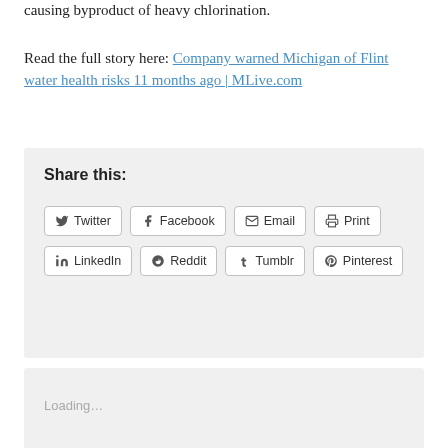causing byproduct of heavy chlorination.
Read the full story here: Company warned Michigan of Flint water health risks 11 months ago | MLive.com
Share this:
Twitter  Facebook  Email  Print  LinkedIn  Reddit  Tumblr  Pinterest
Loading…